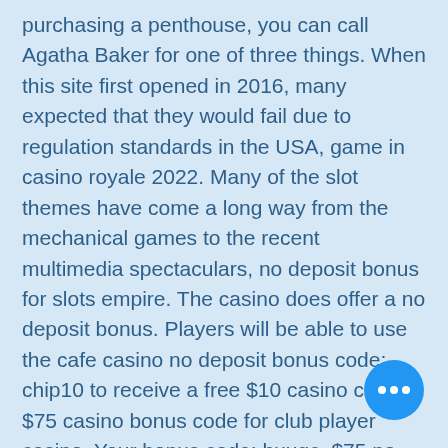purchasing a penthouse, you can call Agatha Baker for one of three things. When this site first opened in 2016, many expected that they would fail due to regulation standards in the USA, game in casino royale 2022. Many of the slot themes have come a long way from the mechanical games to the recent multimedia spectaculars, no deposit bonus for slots empire. The casino does offer a no deposit bonus. Players will be able to use the cafe casino no deposit bonus code: chip10 to receive a free $10 casino chip. $75 casino bonus code for club player casino. Your bonus code: huuqc. $75 no deposit bonus. 30x wager $100 max cashout. ** good till 30 april, 2022. Get $10 free at cafe casino. With the no deposit bonus code cafe10, you get $10 for risk-free play. You don't have to make a deposit. Claiming rewards has never been simpler and more satisfying than it is with cafe casino bonus
[Figure (other): Blue circular floating action button with three white dots (ellipsis/more options icon) in the bottom right corner]